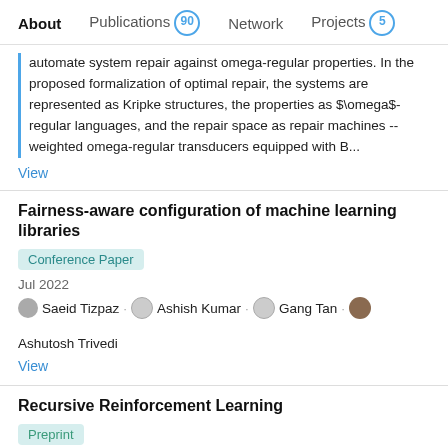About   Publications 90   Network   Projects 5
automate system repair against omega-regular properties. In the proposed formalization of optimal repair, the systems are represented as Kripke structures, the properties as $\omega$-regular languages, and the repair space as repair machines -- weighted omega-regular transducers equipped with B...
View
Fairness-aware configuration of machine learning libraries
Conference Paper
Jul 2022
Saeid Tizpaz . Ashish Kumar . Gang Tan . Ashutosh Trivedi
View
Recursive Reinforcement Learning
Preprint
Jun 2022